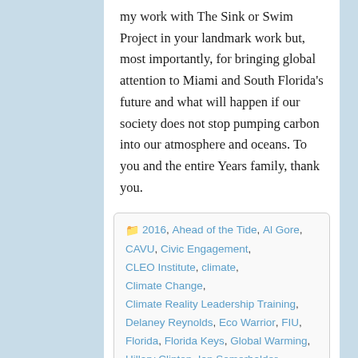my work with The Sink or Swim Project in your landmark work but, most importantly, for bringing global attention to Miami and South Florida's future and what will happen if our society does not stop pumping carbon into our atmosphere and oceans. To you and the entire Years family, thank you.
2016, Ahead of the Tide, Al Gore, CAVU, Civic Engagement, CLEO Institute, climate, Climate Change, Climate Reality Leadership Training, Delaney Reynolds, Eco Warrior, FIU, Florida, Florida Keys, Global Warming, Hillary Clinton, Ian Somerhalder, Jack Black, John Podesta, Miami, miamiecowarrior, miamisearise, Miamisearise.com, National Geographic, Nikki Reed, Palmer Trinity, Politics, Sea Level Rise, Sea Rise, Secretary of State, South Miami, State of Florida, The Sink or Swim Project, The Vampire Diaries, Twilight, University of Miami, Years of